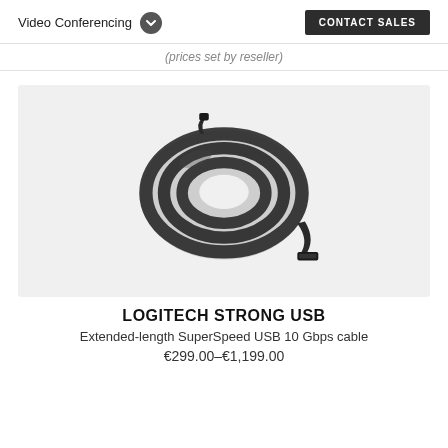Video Conferencing  CONTACT SALES
(prices set by reseller)
[Figure (photo): Logitech Strong USB cable coiled in a circular bundle, dark gray/black color, with USB connector visible at the end, shown on a light gray background.]
LOGITECH STRONG USB
Extended-length SuperSpeed USB 10 Gbps cable
€299.00–€1,199.00